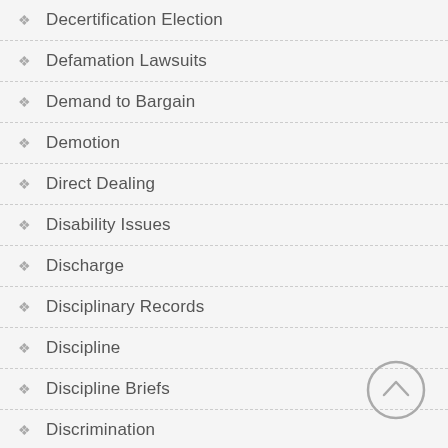Decertification Election
Defamation Lawsuits
Demand to Bargain
Demotion
Direct Dealing
Disability Issues
Discharge
Disciplinary Records
Discipline
Discipline Briefs
Discrimination
Dishonesty